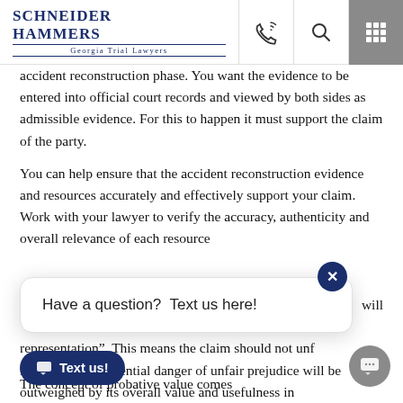Schneider Hammers — Georgia Trial Lawyers
accident reconstruction phase. You want the evidence to be entered into official court records and viewed by both sides as admissible evidence. For this to happen it must support the claim of the party.
You can help ensure that the accident reconstruction evidence and resources accurately and effectively support your claim. Work with your lawyer to verify the accuracy, authenticity and overall relevance of each resource
will
[Figure (screenshot): Chat popup box with text 'Have a question? Text us here!' and a close (x) button]
representation". This means the claim should not unf
The concept of probative value comes into play. Any potential danger of unfair prejudice will be outweighed by its overall value and usefulness in